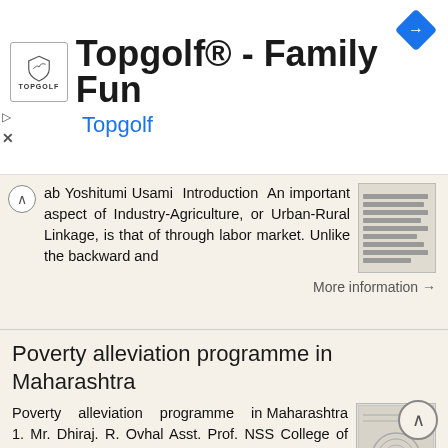[Figure (screenshot): Topgolf advertisement banner with shield logo, title 'Topgolf® - Family Fun', subtitle 'Topgolf' in blue, navigation diamond icon, play and close buttons]
ab Yoshitumi Usami Introduction An important aspect of Industry-Agriculture, or Urban-Rural Linkage, is that of through labor market. Unlike the backward and
More information →
Poverty alleviation programme in Maharashtra
Poverty alleviation programme in Maharashtra 1. Mr. Dhiraj. R. Ovhal Asst. Prof. NSS College of Commerce & Eco. Tardeo. Mumbai 400034 2. Dr. Deepak. M. Salve The Bharat Education Society s Sant Gadge Maharaj